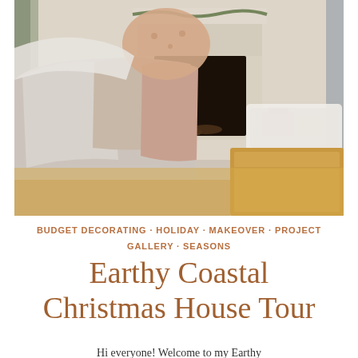[Figure (photo): Interior living room scene with a couch covered in neutral and dusty pink throw pillows and a light grey blanket, a stone fireplace with logs and garland in the background, a sheepskin rug on a wooden coffee table, and wrapped Christmas gifts. Warm, earthy coastal holiday decor.]
BUDGET DECORATING · HOLIDAY · MAKEOVER · PROJECT GALLERY · SEASONS
Earthy Coastal Christmas House Tour
Hi everyone! Welcome to my Earthy